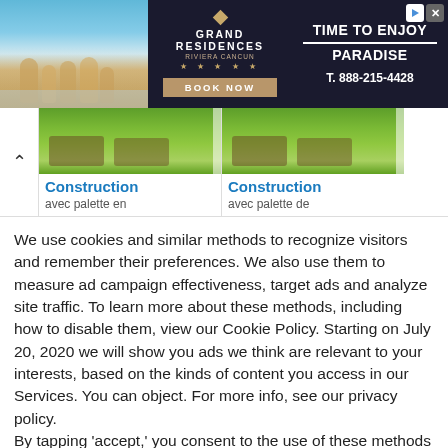[Figure (photo): Grand Residences Rivera Cancun advertisement banner with beach family photo, logo, 'TIME TO ENJOY PARADISE' text, BOOK NOW button, and phone number T. 888-215-4428]
[Figure (screenshot): Thumbnail row showing two 'Construction avec palette en' and 'avec palette de' items with aerial photo thumbnails, preceded by a collapse arrow]
We use cookies and similar methods to recognize visitors and remember their preferences. We also use them to measure ad campaign effectiveness, target ads and analyze site traffic. To learn more about these methods, including how to disable them, view our Cookie Policy. Starting on July 20, 2020 we will show you ads we think are relevant to your interests, based on the kinds of content you access in our Services. You can object. For more info, see our privacy policy.
By tapping 'accept,' you consent to the use of these methods by us and third parties. You can always change your tracker preferences by visiting our Cookie Policy..
Cookie Settings
Accept All